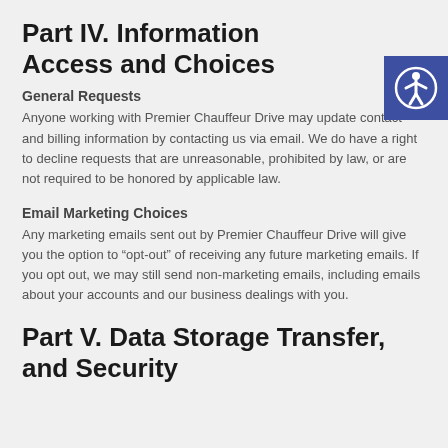Part IV. Information Access and Choices
General Requests
Anyone working with Premier Chauffeur Drive may update contact and billing information by contacting us via email. We do have a right to decline requests that are unreasonable, prohibited by law, or are not required to be honored by applicable law.
Email Marketing Choices
Any marketing emails sent out by Premier Chauffeur Drive will give you the option to “opt-out” of receiving any future marketing emails. If you opt out, we may still send non-marketing emails, including emails about your accounts and our business dealings with you.
Part V. Data Storage Transfer, and Security